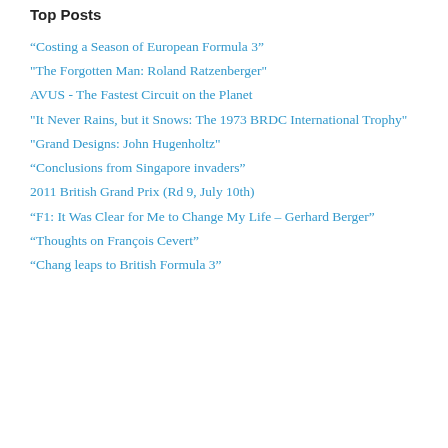Top Posts
“Costing a Season of European Formula 3”
"The Forgotten Man: Roland Ratzenberger"
AVUS - The Fastest Circuit on the Planet
"It Never Rains, but it Snows: The 1973 BRDC International Trophy"
"Grand Designs: John Hugenholtz"
“Conclusions from Singapore invaders”
2011 British Grand Prix (Rd 9, July 10th)
“F1: It Was Clear for Me to Change My Life – Gerhard Berger”
“Thoughts on François Cevert”
“Chang leaps to British Formula 3”